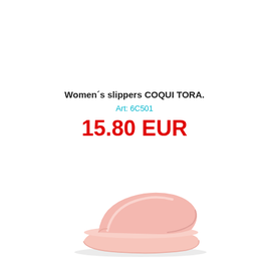Women´s slippers COQUI TORA.
Art: 6C501
15.80 EUR
[Figure (photo): Pink women's slide slipper (COQUI TORA) viewed from a slight angle, showing the open-toe slide design with a smooth pink upper strap and a low platform sole, all in light pink/blush color.]